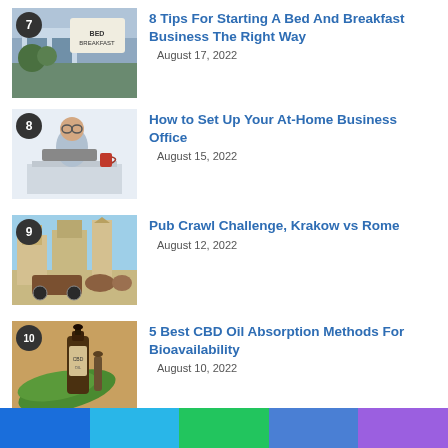7 — 8 Tips For Starting A Bed And Breakfast Business The Right Way — August 17, 2022
8 — How to Set Up Your At-Home Business Office — August 15, 2022
9 — Pub Crawl Challenge, Krakow vs Rome — August 12, 2022
10 — 5 Best CBD Oil Absorption Methods For Bioavailability — August 10, 2022
Categories
[Figure (infographic): Color bar with five segments: blue, light blue, green, medium blue, purple]